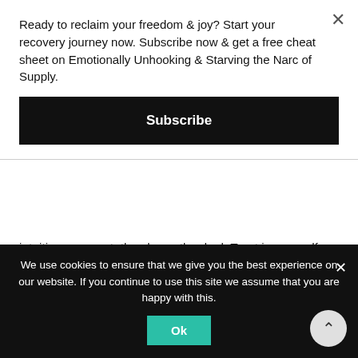Ready to reclaim your freedom & joy? Start your recovery journey now. Subscribe now & get a free cheat sheet on Emotionally Unhooking & Starving the Narc of Supply.
Subscribe
intuition, your gut, they know the deal. Trust in yourself.
Don't let the narcissist win this battle. Conquer your denial. Prepare your own sweet self. Don't wait for them to discard you! Reclaim your power & do what you need to do to take care of you.
We use cookies to ensure that we give you the best experience on our website. If you continue to use this site we assume that you are happy with this.
Ok